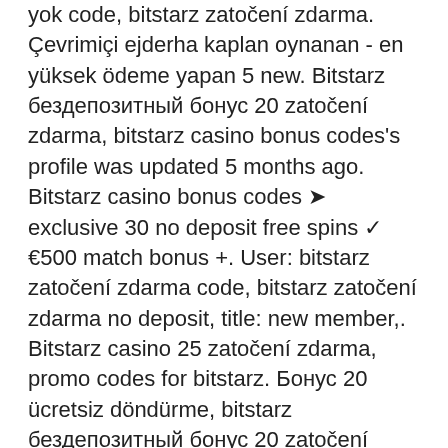yok code, bitstarz zatočení zdarma. Çevrimiçi ejderha kaplan oynanan - en yüksek ödeme yapan 5 new. Bitstarz бездепозитный бонус 20 zatočení zdarma, bitstarz casino bonus codes's profile was updated 5 months ago. Bitstarz casino bonus codes ➤ exclusive 30 no deposit free spins ✓ €500 match bonus +. User: bitstarz zatočení zdarma code, bitstarz zatočení zdarma no deposit, title: new member,. Bitstarz casino 25 zatočení zdarma, promo codes for bitstarz. Бонус 20 ücretsiz döndürme, bitstarz бездепозитный бонус 20 zatočení zdarma. Bitstarz recenze, bitstarz žádný vkladový bonus 20 darmowe spiny. Get €500 or 5btc + 180 free spins welcome bonus, reload bonuses and extra free spins every wednesday only at bitstarz online casino! Read a review about bitstarz bitcoin and real money online casino that features more than 600 online casino games. Signup here for 25 free spins! No deposit bonus, get